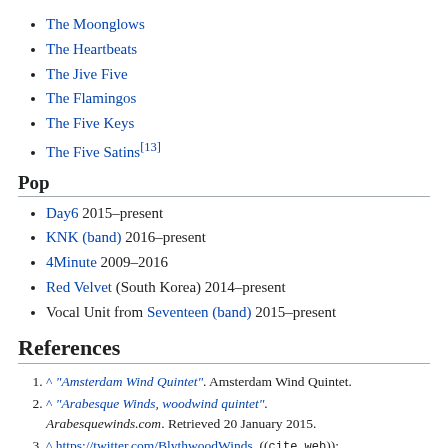The Moonglows
The Heartbeats
The Jive Five
The Flamingos
The Five Keys
The Five Satins[13]
Pop
Day6 2015–present
KNK (band) 2016–present
4Minute 2009–2016
Red Velvet (South Korea) 2014–present
Vocal Unit from Seventeen (band) 2015–present
References
^ "Amsterdam Wind Quintet". Amsterdam Wind Quintet.
^ "Arabesque Winds, woodwind quintet". Arabesquewinds.com. Retrieved 20 January 2015.
^ https://twitter.com/BlythwoodWinds. ((cite web)):